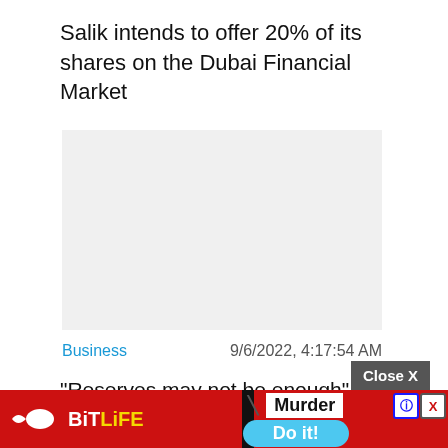Salik intends to offer 20% of its shares on the Dubai Financial Market
[Figure (other): Light gray placeholder image/advertisement area]
Business
9/6/2022, 4:17:54 AM
“Reserves may not be enough”: gas in Europe has risen in price by a third after the shutdown of Nord Stream
[Figure (screenshot): BitLife advertisement banner with Murder Do it! text and Close X button]